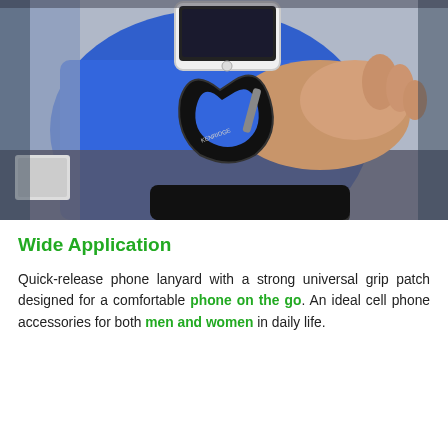[Figure (photo): Photo of a person holding a carabiner clip attached to a blue fabric item, with a white smartphone visible in the upper portion. The scene appears to be a product demonstration of a quick-release phone lanyard.]
Wide Application
Quick-release phone lanyard with a strong universal grip patch designed for a comfortable phone on the go. An ideal cell phone accessories for both men and women in daily life.